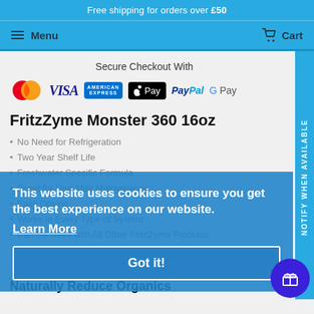Free shipping for orders over £50
Menu   Cart
Secure Checkout With
[Figure (logo): Payment method logos: Mastercard, VISA, American Express, Apple Pay, PayPal, G Pay]
FritzZyme Monster 360 16oz
No Need for Refrigeration
Two Year Shelf Life
Freshwater Specific Formula
Great for Use After Maintenance
Easy Dosing
Works in Every Type of System
Can Be Used with All Other FritzZyme Products
This website uses cookies to ensure you get the best experience on our website.
Learn More
Got it!
Naturally Reduce Organics